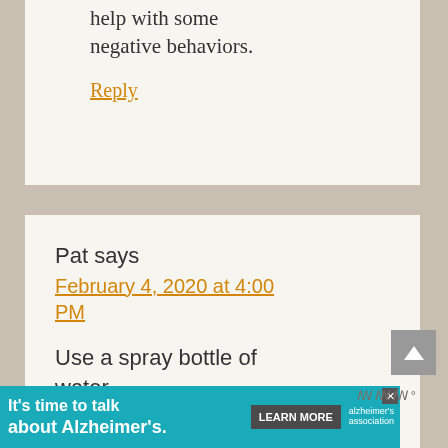help with some negative behaviors.
Reply
Pat says
February 4, 2020 at 4:00 PM
Use a spray bottle of water
It's time to talk about Alzheimer's.